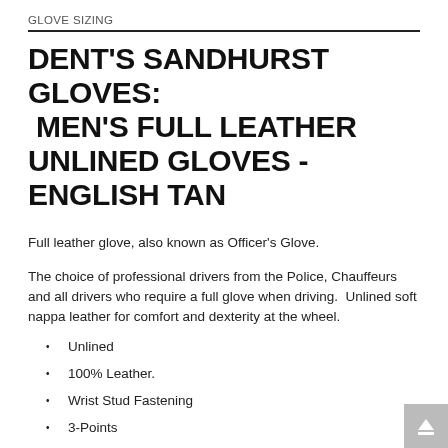GLOVE SIZING
DENT'S SANDHURST GLOVES: MEN'S FULL LEATHER UNLINED GLOVES - ENGLISH TAN
Full leather glove, also known as Officer's Glove.
The choice of professional drivers from the Police, Chauffeurs and all drivers who require a full glove when driving.  Unlined soft nappa leather for comfort and dexterity at the wheel.
Unlined
100% Leather.
Wrist Stud Fastening
3-Points